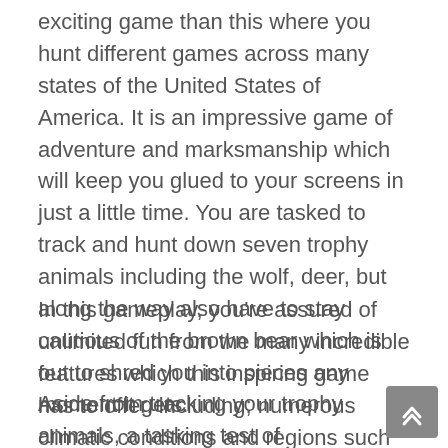exciting game than this where you hunt different games across many states of the United States of America. It is an impressive game of adventure and marksmanship which will keep you glued to your screens in just a little time. You are tasked to track and hunt down seven trophy animals including the wolf, deer, but along the way also have to stay cautious of the brown bear which is out to shred you into pieces any moment it gets.
In this gameplay, you're assured of unlimited fun from the many incredible features which this inspiring game has to offer, including; numerous climatic conditions and regions such as the rainforest, mountains, etc shared unevenly among the fifty states.
Aside from tracking your trophy animals, a tasking test of marksmanship is introduced to you which you